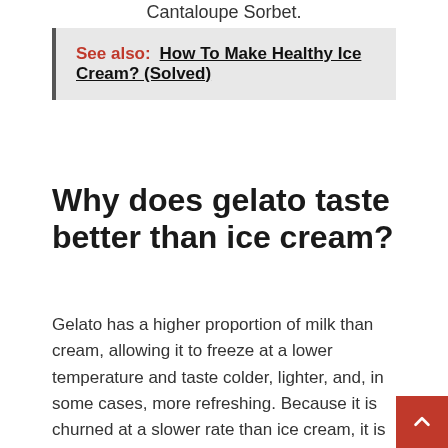Cantaloupe Sorbet.
See also:  How To Make Healthy Ice Cream? (Solved)
Why does gelato taste better than ice cream?
Gelato has a higher proportion of milk than cream, allowing it to freeze at a lower temperature and taste colder, lighter, and, in some cases, more refreshing. Because it is churned at a slower rate than ice cream, it is denser and has a more powerful flavor.